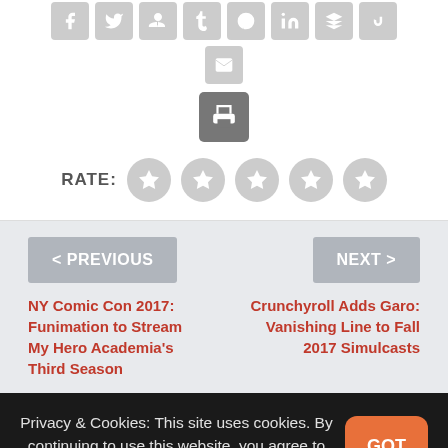[Figure (other): Social media sharing icons row: Facebook, Twitter, Google+, Tumblr, Pinterest, LinkedIn, Buffer, StumbleUpon, Email — all grey rounded square buttons with white icons]
[Figure (other): Print icon — grey rounded square button with white printer icon]
RATE: [5 grey star rating circles]
< PREVIOUS
NEXT >
NY Comic Con 2017: Funimation to Stream My Hero Academia's Third Season
Crunchyroll Adds Garo: Vanishing Line to Fall 2017 Simulcasts
Privacy & Cookies: This site uses cookies. By continuing to use this website, you agree to their use. Learn More